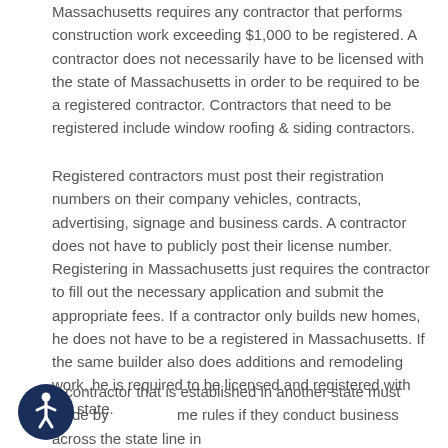Massachusetts requires any contractor that performs construction work exceeding $1,000 to be registered. A contractor does not necessarily have to be licensed with the state of Massachusetts in order to be required to be a registered contractor. Contractors that need to be registered include window roofing & siding contractors.
Registered contractors must post their registration numbers on their company vehicles, contracts, advertising, signage and business cards. A contractor does not have to publicly post their license number. Registering in Massachusetts just requires the contractor to fill out the necessary application and submit the appropriate fees. If a contractor only builds new homes, he does not have to be a registered in Massachusetts. If the same builder also does additions and remodeling work, he is required to be licensed and registered with the state.
A contractor that is established in another state must abide by the same rules if they conduct business across the state line in Massachusetts. Under no circumstance should you – the
[Figure (illustration): Accessibility icon: a circular dark blue button with a white stylized human figure (wheelchair accessibility symbol)]